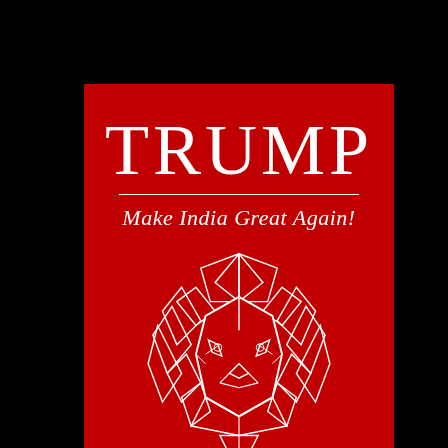[Figure (illustration): Red vertical banner/poster with white geometric lion head illustration, featuring the text TRUMP and Make India Great Again!]